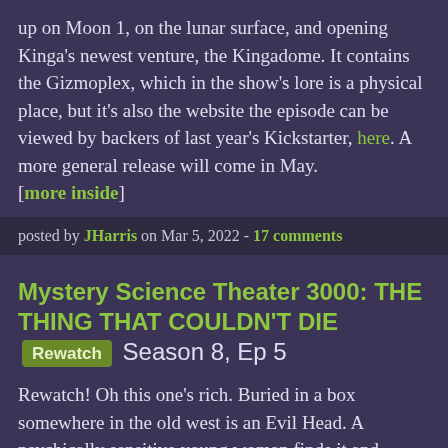up on Moon 1, on the lunar surface, and opening Kinga's newest venture, the Kingadome. It contains the Gizmoplex, which in the show's lore is a physical place, but it's also the website the episode can be viewed by backers of last year's Kickstarter, here. A more general release will come in May. [more inside]
posted by JHarris on Mar 5, 2022 - 17 comments
Mystery Science Theater 3000: THE THING THAT COULDN'T DIE Rewatch Season 8, Ep 5
Rewatch! Oh this one's rich. Buried in a box somewhere in the old west is an Evil Head. A psychically sensitive young woman finds it and immediately becomes its mind-controlled minion, and about 50% sluttier because we all know Evil Heads yearn to possess young women so that they can get it on by proxy. Eventually it manipulates the other people on the dude ranch (they have about 100 head